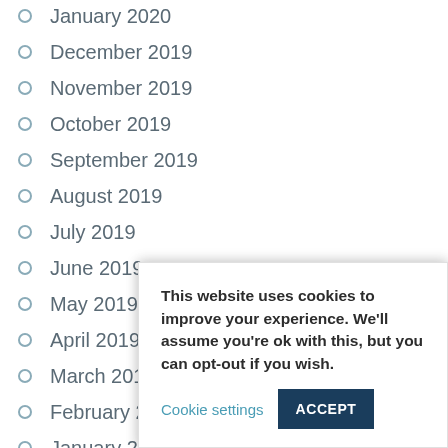January 2020
December 2019
November 2019
October 2019
September 2019
August 2019
July 2019
June 2019
May 2019
April 2019
March 2019
February 2019
January 2019
December 201…
This website uses cookies to improve your experience. We'll assume you're ok with this, but you can opt-out if you wish. Cookie settings ACCEPT